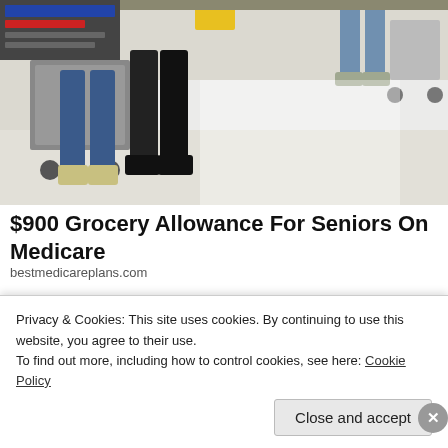[Figure (photo): Bottom portion of people in a grocery store/hospital hallway, showing legs and shopping carts/wheelchairs on a light-colored floor]
$900 Grocery Allowance For Seniors On Medicare
bestmedicareplans.com
[Figure (photo): Close-up black and white photo of a young person's face, showing mainly the eyes and forehead]
Privacy & Cookies: This site uses cookies. By continuing to use this website, you agree to their use.
To find out more, including how to control cookies, see here: Cookie Policy
Close and accept